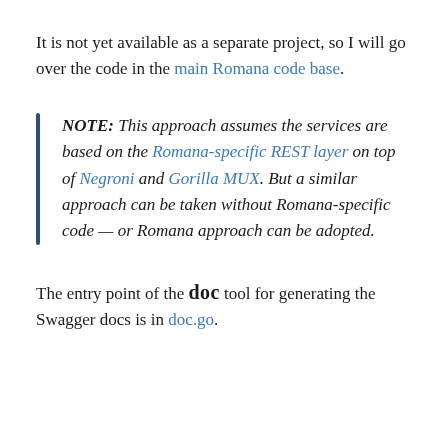It is not yet available as a separate project, so I will go over the code in the main Romana code base.
NOTE: This approach assumes the services are based on the Romana-specific REST layer on top of Negroni and Gorilla MUX. But a similar approach can be taken without Romana-specific code — or Romana approach can be adopted.
The entry point of the doc tool for generating the Swagger docs is in doc.go.